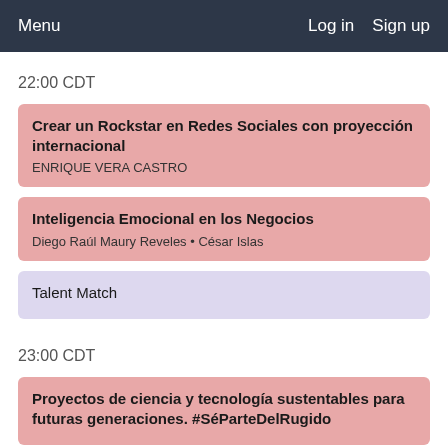Menu   Log in   Sign up
22:00 CDT
Crear un Rockstar en Redes Sociales con proyección internacional
ENRIQUE VERA CASTRO
Inteligencia Emocional en los Negocios
Diego Raúl Maury Reveles • César Islas
Talent Match
23:00 CDT
Proyectos de ciencia y tecnología sustentables para futuras generaciones. #SéParteDelRugido